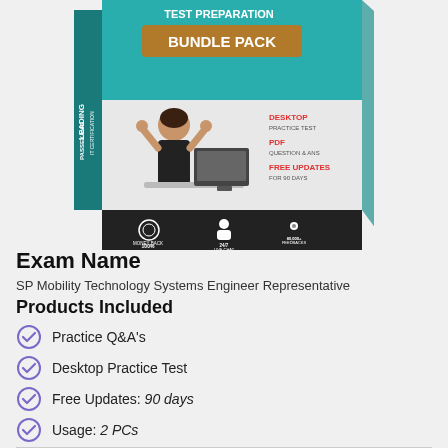[Figure (illustration): Product bundle pack box showing a woman celebrating at a desk with a computer, with teal/dark color scheme. Text on box: BUNDLE PACK, DESKTOP PRACTICE TEST, PDF QUESTION & ANS, FREE UPDATES FOR 90 DAYS, 100% MONEY BACK, 24/7 LIVE CHAT, 80,000+ FEEDBACKS, PASSEXAMS LEADING IT CERTIFICATION]
Exam Name
SP Mobility Technology Systems Engineer Representative
Products Included
Practice Q&A's
Desktop Practice Test
Free Updates: 90 days
Usage: 2 PCs